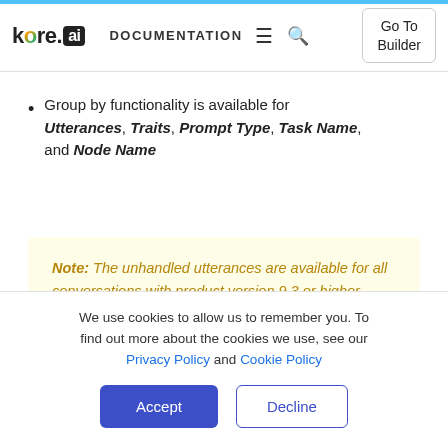kore.ai DOCUMENTATION — Go To Builder
Group by functionality is available for Utterances, Traits, Prompt Type, Task Name, and Node Name
Note: The unhandled utterances are available for all conversations with product version 9.3 or higher.
See the following table and Features section to know
We use cookies to allow us to remember you. To find out more about the cookies we use, see our Privacy Policy and Cookie Policy